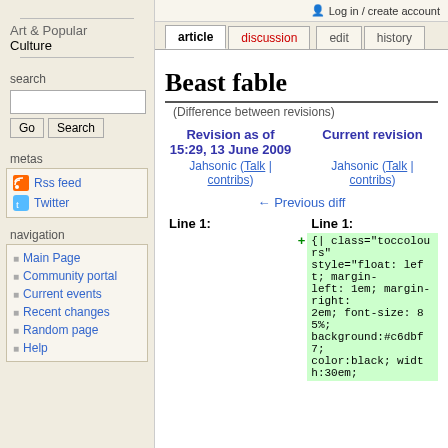Log in / create account
article | discussion | edit | history
Art & Popular Culture
search
metas
Rss feed
Twitter
navigation
Main Page
Community portal
Current events
Recent changes
Random page
Help
Beast fable
(Difference between revisions)
| Revision as of 15:29, 13 June 2009 | Current revision |
| --- | --- |
| Jahsonic (Talk | contribs) | Jahsonic (Talk | contribs) |
← Previous diff
Line 1:	Line 1:
+ {| class="toccolours" style="float: left; margin-left: 1em; margin-right: 2em; font-size: 85%; background:#c6dbf7; color:black; width:30em;